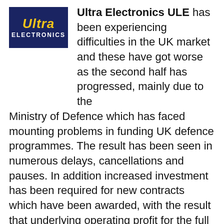[Figure (logo): Ultra Electronics logo — dark navy blue background with 'Ultra' in bold italic yellow and 'ELECTRONICS' in white uppercase letters beneath]
Ultra Electronics ULE has been experiencing difficulties in the UK market and these have got worse as the second half has progressed, mainly due to the Ministry of Defence which has faced mounting problems in funding UK defence programmes. The result has been seen in numerous delays, cancellations and pauses. In addition increased investment has been required for new contracts which have been awarded, with the result that underlying operating profit for the full year is now expected to be about £120m. The board is now pondering on paying a final dividend of about 35p. per share.
[Figure (photo): Broken/missing image placeholder for Taylor Wimpey]
Taylor Wimpey TW has enjoyed a strong second half, with demand for new houses being robust and market conditions favourable. Further growth and performance improvement is expected for 2018, with 2017's